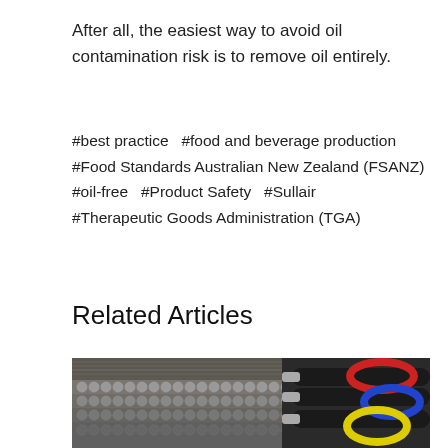After all, the easiest way to avoid oil contamination risk is to remove oil entirely.
#best practice   #food and beverage production #Food Standards Australian New Zealand (FSANZ) #oil-free   #Product Safety   #Sullair #Therapeutic Goods Administration (TGA)
Related Articles
[Figure (photo): Industrial machinery with metal tubes/rollers on the left side, and colorful refrigerant gauge hoses (red, blue, yellow) with black handles on the right side.]